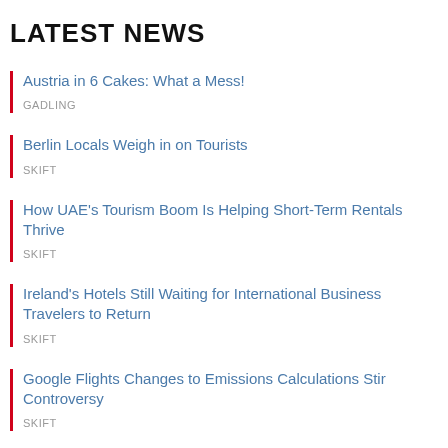LATEST NEWS
Austria in 6 Cakes: What a Mess!
GADLING
Berlin Locals Weigh in on Tourists
SKIFT
How UAE's Tourism Boom Is Helping Short-Term Rentals Thrive
SKIFT
Ireland's Hotels Still Waiting for International Business Travelers to Return
SKIFT
Google Flights Changes to Emissions Calculations Stir Controversy
SKIFT